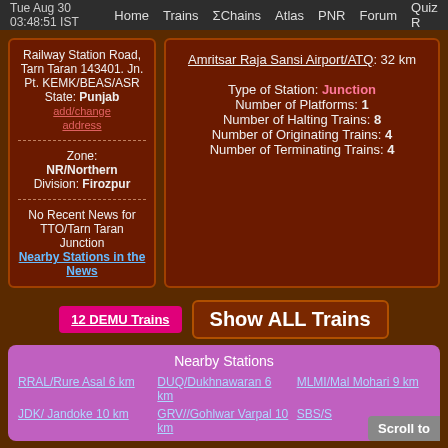Tue Aug 30 03:48:51 IST   Home   Trains   ΣChains   Atlas   PNR   Forum   Quiz R
Railway Station Road, Tarn Taran 143401. Jn. Pt. KEMK/BEAS/ASR
State: Punjab
add/change address

Zone: NR/Northern
Division: Firozpur

No Recent News for TTO/Tarn Taran Junction
Nearby Stations in the News
Amritsar Raja Sansi Airport/ATQ: 32 km
Type of Station: Junction
Number of Platforms: 1
Number of Halting Trains: 8
Number of Originating Trains: 4
Number of Terminating Trains: 4
12 DEMU Trains   Show ALL Trains
Nearby Stations
RRAL/Rure Asal 6 km
DUQ/Dukhnawaran 6 km
MLMI/Mal Mohari 9 km
JDK/ Jandoke 10 km
GRV//Gohlwar Varpal 10 km
SBS/S...